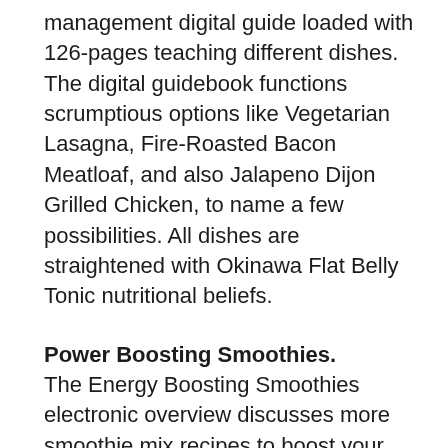management digital guide loaded with 126-pages teaching different dishes. The digital guidebook functions scrumptious options like Vegetarian Lasagna, Fire-Roasted Bacon Meatloaf, and also Jalapeno Dijon Grilled Chicken, to name a few possibilities. All dishes are straightened with Okinawa Flat Belly Tonic nutritional beliefs.
Power Boosting Smoothies.
The Energy Boosting Smoothies electronic overview discusses more smoothie mix recipes to boost your power while regarding the Okinawa Flat Belly Tonic program. The healthy smoothies are similar to the CRP-targeting smoothie mixes in Okinawa Flat Belly Tonic Drinks. Excellent smoothie mixes consist of Green Protein Smoothie (with